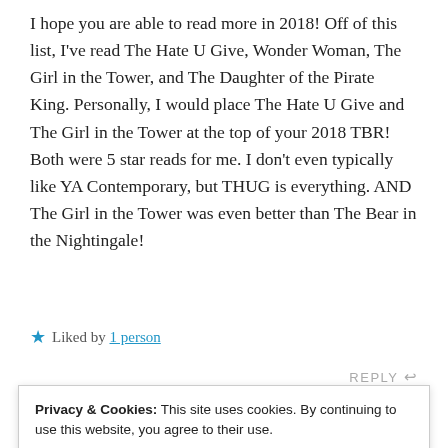I hope you are able to read more in 2018! Off of this list, I've read The Hate U Give, Wonder Woman, The Girl in the Tower, and The Daughter of the Pirate King. Personally, I would place The Hate U Give and The Girl in the Tower at the top of your 2018 TBR! Both were 5 star reads for me. I don't even typically like YA Contemporary, but THUG is everything. AND The Girl in the Tower was even better than The Bear in the Nightingale!
★ Liked by 1 person
REPLY ↩
Privacy & Cookies: This site uses cookies. By continuing to use this website, you agree to their use.
To find out more, including how to control cookies, see here: Cookie Policy
Close and accept